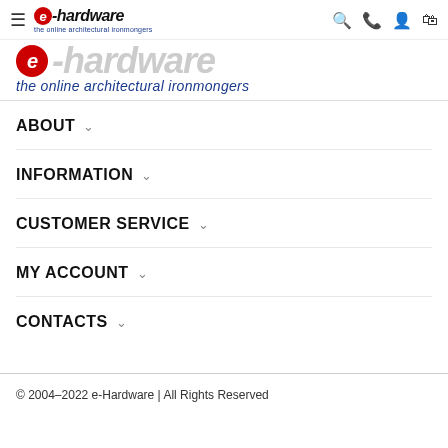e-hardware the online architectural ironmongers — navigation header with search, phone, account, and cart icons
[Figure (logo): e-hardware logo large banner: circular red 'e' icon followed by 'hardware' in grey italic bold text, with tagline 'the online architectural ironmongers' in blue italic below]
ABOUT ∨
INFORMATION ∨
CUSTOMER SERVICE ∨
MY ACCOUNT ∨
CONTACTS ∨
© 2004–2022 e-Hardware | All Rights Reserved